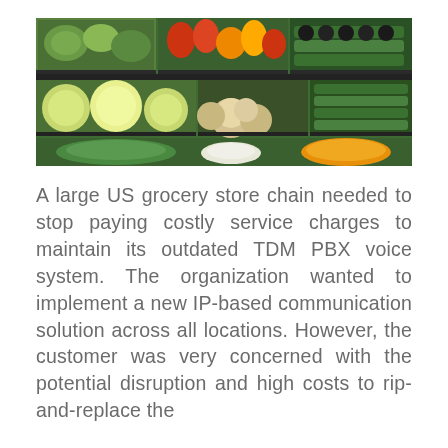[Figure (photo): Overhead view of a grocery store produce display showing rows of fresh vegetables and fruits including leafy greens, bell peppers, cucumbers, cabbages, mushrooms, and other vegetables arranged in market bins.]
A large US grocery store chain needed to stop paying costly service charges to maintain its outdated TDM PBX voice system. The organization wanted to implement a new IP-based communication solution across all locations. However, the customer was very concerned with the potential disruption and high costs to rip-and-replace the